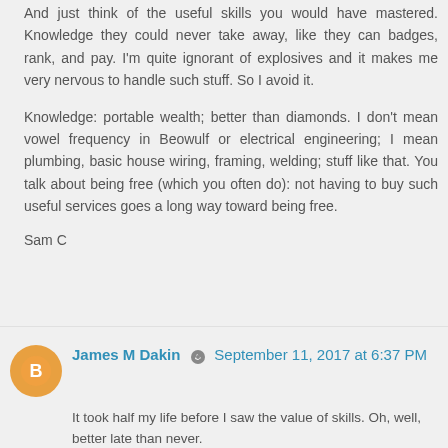And just think of the useful skills you would have mastered. Knowledge they could never take away, like they can badges, rank, and pay. I'm quite ignorant of explosives and it makes me very nervous to handle such stuff. So I avoid it.
Knowledge: portable wealth; better than diamonds. I don't mean vowel frequency in Beowulf or electrical engineering; I mean plumbing, basic house wiring, framing, welding; stuff like that. You talk about being free (which you often do): not having to buy such useful services goes a long way toward being free.
Sam C
James M Dakin  September 11, 2017 at 6:37 PM
It took half my life before I saw the value of skills. Oh, well, better late than never.